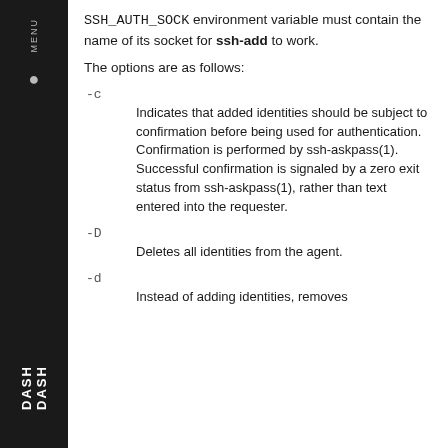SSH_AUTH_SOCK environment variable must contain the name of its socket for ssh-add to work.
The options are as follows:
-c
Indicates that added identities should be subject to confirmation before being used for authentication. Confirmation is performed by ssh-askpass(1). Successful confirmation is signaled by a zero exit status from ssh-askpass(1), rather than text entered into the requester.
-D
Deletes all identities from the agent.
-d
Instead of adding identities, removes